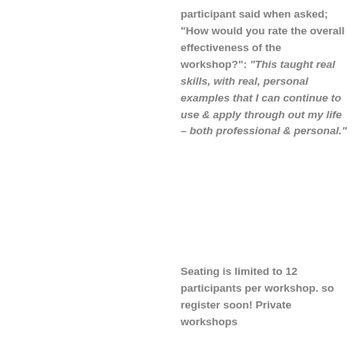participant said when asked; "How would you rate the overall effectiveness of the workshop?": "This taught real skills, with real, personal examples that I can continue to use & apply through out my life – both professional & personal."
Seating is limited to 12 participants per workshop. so register soon!  Private workshops